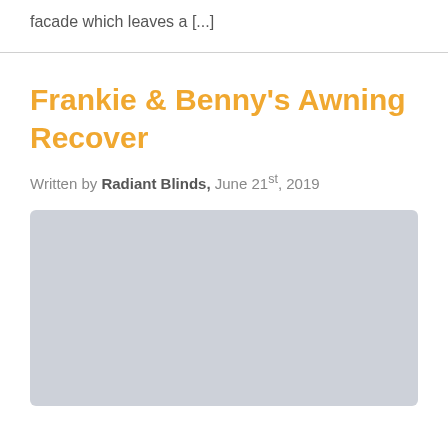facade which leaves a [...]
Frankie & Benny's Awning Recover
Written by Radiant Blinds, June 21st, 2019
[Figure (photo): Gray placeholder image for article photo]